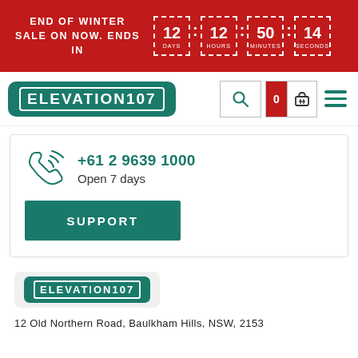END OF WINTER SALE ON NOW. ENDS IN | 12 DAYS : 12 HOURS : 50 MINUTES : 14 SECONDS
[Figure (logo): Elevation107 logo in teal rounded rectangle with white bordered text]
[Figure (infographic): Search icon, cart with badge showing 0, hamburger menu icon]
+61 2 9639 1000
Open 7 days
SUPPORT
[Figure (logo): Elevation107 footer logo smaller version]
12 Old Northern Road, Baulkham Hills, NSW, 2153